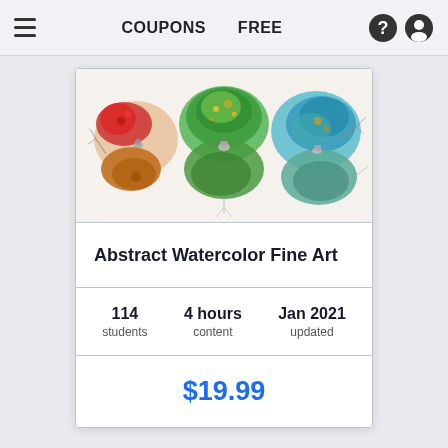COUPONS   FREE
[Figure (photo): Abstract watercolor fine art jewelry pieces showing colorful resin or watercolor stones in red, orange, green, teal, and blue tones, with silver decorative elements, displayed on a white background.]
Abstract Watercolor Fine Art
114 students   4 hours content   Jan 2021 updated
$19.99